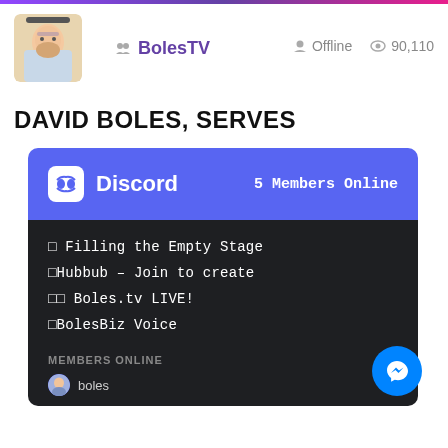BolesTV — Offline — 90,110 views
DAVID BOLES, SERVES
[Figure (screenshot): Discord widget showing 5 Members Online, channels: Filling the Empty Stage, Hubbub - Join to create, Boles.tv LIVE!, BolesBiz Voice, and MEMBERS ONLINE section with 'boles' member listed.]
[Figure (other): Messenger floating action button (blue circle with white lightning bolt icon)]